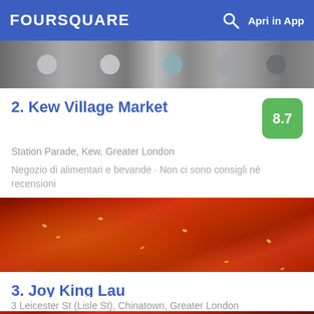FOURSQUARE  Apri in App
[Figure (photo): Partial photo of items (jars/containers) from top view, cut off at top]
2. Kew Village Market
Station Parade, Kew, Greater London
Negozio di alimentari e bevande · Non ci sono consigli né recensioni
[Figure (photo): Close-up photo of red spicy food (glazed meat/chicken in red chili sauce with sesame seeds)]
3. Joy King Lau
3 Leicester St (Lisle St), Chinatown, Greater London